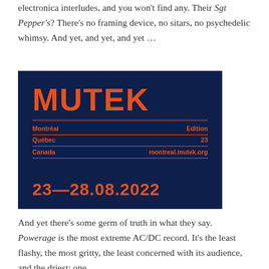electronica interludes, and you won't find any. Their Sgt Pepper's? There's no framing device, no sitars, no psychedelic whimsy. And yet, and yet, and yet …
[Figure (logo): MUTEK festival promotional banner on dark navy background. Shows the MUTEK logo in large orange bold text, with details: Montréal Edition, Québec 23, Canada montreal.mutek.org, and date 23—28.08.2022 all in orange text.]
And yet there's some germ of truth in what they say. Powerage is the most extreme AC/DC record. It's the least flashy, the most gritty, the least concerned with its audience, and the driest: one